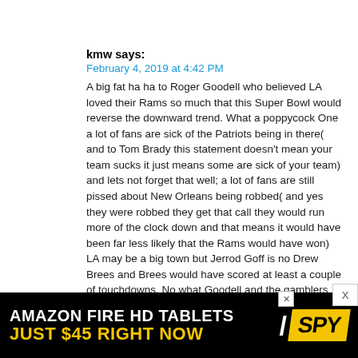kmw says:
February 4, 2019 at 4:42 PM
A big fat ha ha to Roger Goodell who believed LA loved their Rams so much that this Super Bowl would reverse the downward trend. What a poppycock One a lot of fans are sick of the Patriots being in there( and to Tom Brady this statement doesn't mean your team sucks it just means some are sick of your team) and lets not forget that well; a lot of fans are still pissed about New Orleans being robbed( and yes they were robbed they get that call they would run more of the clock down and that means it would have been far less likely that the Rams would have won) LA may be a big town but Jerrod Goff is no Drew Brees and Brees would have scored at least a couple of touchdowns. No what Goodell and the gamblers gave us was a worse game than my hometown Broncos had against the Panthers where they were lucky to win. Goodell deserves
[Figure (other): Advertisement banner for Amazon Fire HD Tablets - Just $45 Right Now, with SPY logo]